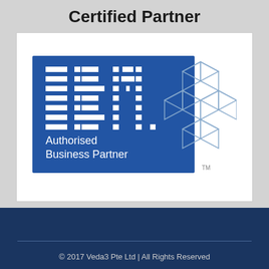Certified Partner
[Figure (logo): IBM Authorised Business Partner logo on blue background with geometric cube graphic]
© 2017 Veda3 Pte Ltd | All Rights Reserved